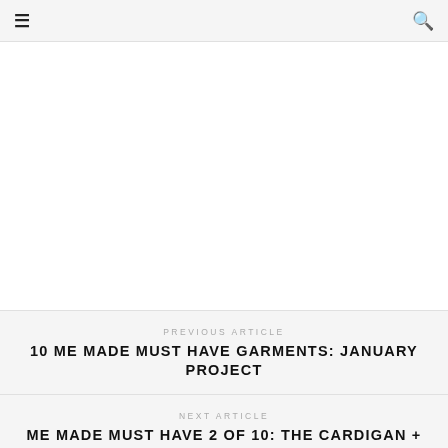≡  🔍
[Figure (other): White blank area, appears to be an advertisement or image placeholder]
PREVIOUS ARTICLE
10 ME MADE MUST HAVE GARMENTS: JANUARY PROJECT
NEXT ARTICLE
ME MADE MUST HAVE 2 OF 10: THE CARDIGAN + NEW PDF PATTERN